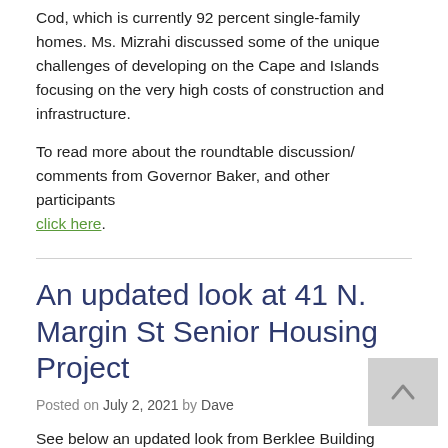Cod, which is currently 92 percent single-family homes. Ms. Mizrahi discussed some of the unique challenges of developing on the Cape and Islands focusing on the very high costs of construction and infrastructure.
To read more about the roundtable discussion/ comments from Governor Baker, and other participants click here.
An updated look at 41 N. Margin St Senior Housing Project
Posted on July 2, 2021 by Dave
See below an updated look from Berklee Building